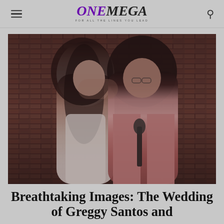ONEMEGA — FOR ALL THE LINES YOU LEAD
[Figure (photo): Wedding photo of a couple kissing in front of a brick wall. The woman is wearing a white/cream outfit with long dark hair. The man is wearing a pink blazer and holding a microphone. Romantic indoor setting.]
Breathtaking Images: The Wedding of Greggy Santos and